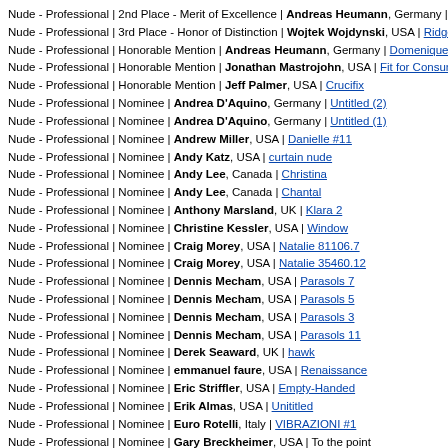Nude - Professional | 2nd Place - Merit of Excellence | Andreas Heumann, Germany | A…
Nude - Professional | 3rd Place - Honor of Distinction | Wojtek Wojdynski, USA | Ridges
Nude - Professional | Honorable Mention | Andreas Heumann, Germany | Domenique
Nude - Professional | Honorable Mention | Jonathan Mastrojohn, USA | Fit for Consump
Nude - Professional | Honorable Mention | Jeff Palmer, USA | Crucifix
Nude - Professional | Nominee | Andrea D'Aquino, Germany | Untitled (2)
Nude - Professional | Nominee | Andrea D'Aquino, Germany | Untitled (1)
Nude - Professional | Nominee | Andrew Miller, USA | Danielle #11
Nude - Professional | Nominee | Andy Katz, USA | curtain nude
Nude - Professional | Nominee | Andy Lee, Canada | Christina
Nude - Professional | Nominee | Andy Lee, Canada | Chantal
Nude - Professional | Nominee | Anthony Marsland, UK | Klara 2
Nude - Professional | Nominee | Christine Kessler, USA | Window
Nude - Professional | Nominee | Craig Morey, USA | Natalie 81106.7
Nude - Professional | Nominee | Craig Morey, USA | Natalie 35460.12
Nude - Professional | Nominee | Dennis Mecham, USA | Parasols 7
Nude - Professional | Nominee | Dennis Mecham, USA | Parasols 5
Nude - Professional | Nominee | Dennis Mecham, USA | Parasols 3
Nude - Professional | Nominee | Dennis Mecham, USA | Parasols 11
Nude - Professional | Nominee | Derek Seaward, UK | hawk
Nude - Professional | Nominee | emmanuel faure, USA | Renaissance
Nude - Professional | Nominee | Eric Striffler, USA | Empty-Handed
Nude - Professional | Nominee | Erik Almas, USA | Unititled
Nude - Professional | Nominee | Euro Rotelli, Italy | VIBRAZIONI #1
Nude - Professional | Nominee | Gary Breckheimer, USA | To the point